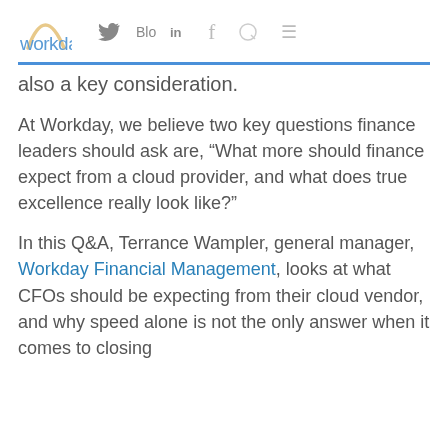workday. Blog (Twitter, LinkedIn, Facebook, Search, Menu)
also a key consideration.
At Workday, we believe two key questions finance leaders should ask are, “What more should finance expect from a cloud provider, and what does true excellence really look like?”
In this Q&A, Terrance Wampler, general manager, Workday Financial Management, looks at what CFOs should be expecting from their cloud vendor, and why speed alone is not the only answer when it comes to closing